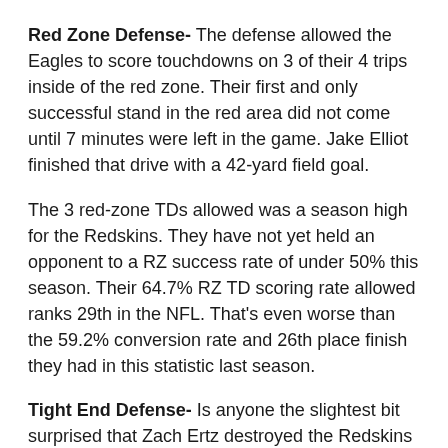Red Zone Defense- The defense allowed the Eagles to score touchdowns on 3 of their 4 trips inside of the red zone. Their first and only successful stand in the red area did not come until 7 minutes were left in the game. Jake Elliot finished that drive with a 42-yard field goal.
The 3 red-zone TDs allowed was a season high for the Redskins. They have not yet held an opponent to a RZ success rate of under 50% this season. Their 64.7% RZ TD scoring rate allowed ranks 29th in the NFL. That's even worse than the 59.2% conversion rate and 26th place finish they had in this statistic last season.
Tight End Defense- Is anyone the slightest bit surprised that Zach Ertz destroyed the Redskins again? Ertz lit the defense up, as he caught all 5 of his